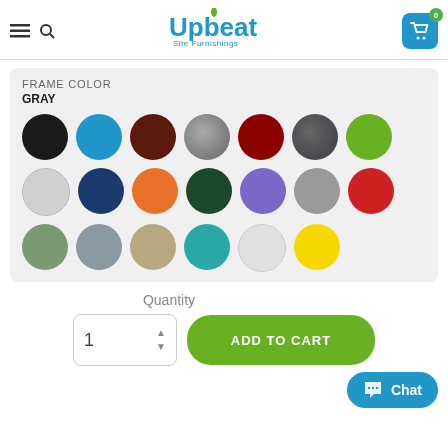[Figure (logo): Upbeat Site Furnishings logo - an ANOVA company, with navigation icons and cart button]
FRAME COLOR
GRAY
[Figure (infographic): Color selector grid with 21 color circles: black, blue, dark brown, gray, dark red, dark gray, green; light gray, navy, orange, dark green, purple, gray, red; sage green, silver, tan, teal, light gray, yellow]
Quantity
1
ADD TO CART
Chat